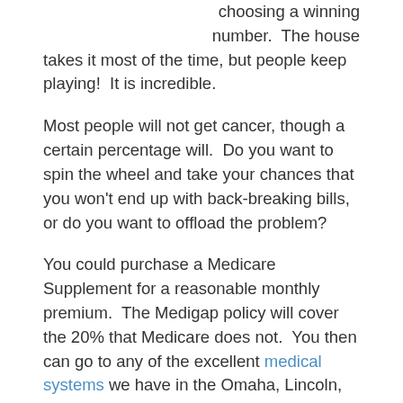choosing a winning number.  The house takes it most of the time, but people keep playing!  It is incredible.
Most people will not get cancer, though a certain percentage will.  Do you want to spin the wheel and take your chances that you won't end up with back-breaking bills, or do you want to offload the problem?
You could purchase a Medicare Supplement for a reasonable monthly premium.  The Medigap policy will cover the 20% that Medicare does not.  You then can go to any of the excellent medical systems we have in the Omaha, Lincoln, and Council Bluffs metro area or anywhere in the country without concern about costs.
You could choose a Medicare Advantage plan that